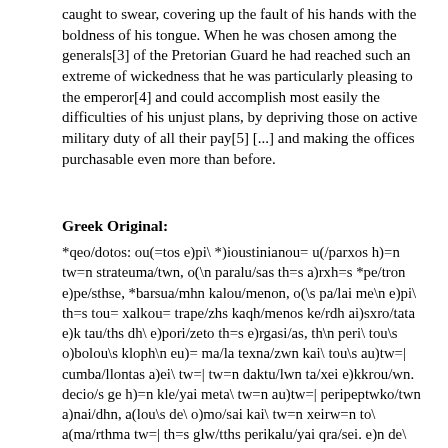caught to swear, covering up the fault of his hands with the boldness of his tongue. When he was chosen among the generals[3] of the Pretorian Guard he had reached such an extreme of wickedness that he was particularly pleasing to the emperor[4] and could accomplish most easily the difficulties of his unjust plans, by depriving those on active military duty of all their pay[5] [...] and making the offices purchasable even more than before.
Greek Original:
*qeo/dotos: ou(=tos e)pi\ *)ioustinianou= u(/parxos h)=n tw=n strateuma/twn, o(\n paralu/sas th=s a)rxh=s *pe/tron e)pe/sthse, *barsua/mhn kalou/menon, o(\s pa/lai me\n e)pi\ th=s tou= xalkou= trape/zhs kaqh/menos ke/rdh ai)sxro/tata e)k tau/ths dh\ e)pori/zeto th=s e)rgasi/as, th\n peri\ tou\s o)bolou\s kloph\n eu)= ma/la texna/zwn kai\ tou\s au)tw=| cumba/llontas a)ei\ tw=| tw=n daktu/lwn ta/xei e)kkrou/wn. decio/s ge h)=n kle/yai meta\ tw=n au)tw=| peripeptwko/twn a)nai/dhn, a(lou\s de\ o)mo/sai kai\ tw=n xeirw=n to\ a(ma/rthma tw=| th=s glw/tths perikalu/yai qra/sei. e)n de\ toi=s tw=n u(pa/rxwn strathgoi=s katalexqei\s e)s tosou=ton a)topi/as e)llh/laken, w(/ste tw=| basilei= a)re/skein e)s ta\ ma/lista kai\ e)s tw=n a)di/kwn au)tw=| bouleuma/twn r(a=|sta u(pourgei=n ta\ a)mh/xana, tou/s te strateuome/nous a)posterw=n ta\s sunta/ceis a(pa/sas kai\ w)ni/ous ta\s a)rxa\s e)/ti ma=|lon h)\